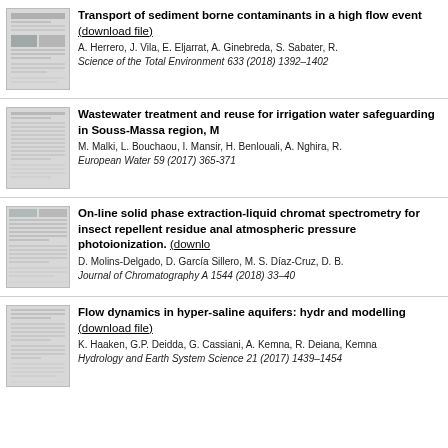Transport of sediment borne contaminants in a high flow event (download file). A. Herrero, J. Vila, E. Eljarrat, A. Ginebreda, S. Sabater, R. Science of the Total Environment 633 (2018) 1392–1402
Wastewater treatment and reuse for irrigation water safeguarding in Souss-Massa region, M. M. Malki, L. Bouchaou, I. Mansir, H. Benlouali, A. Nghira, R. European Water 59 (2017) 365-371
On-line solid phase extraction-liquid chromatography spectrometry for insect repellent residue analysis atmospheric pressure photoionization. (download) D. Molins-Delgado, D. García Sillero, M. S. Díaz-Cruz, D. B. Journal of Chromatography A 1544 (2018) 33–40
Flow dynamics in hyper-saline aquifers: hydr and modelling (download file). K. Haaken, G.P. Deidda, G. Cassiani, A. Kemna, R. Deiana, Kemna. Hydrology and Earth System Science 21 (2017) 1439–1454